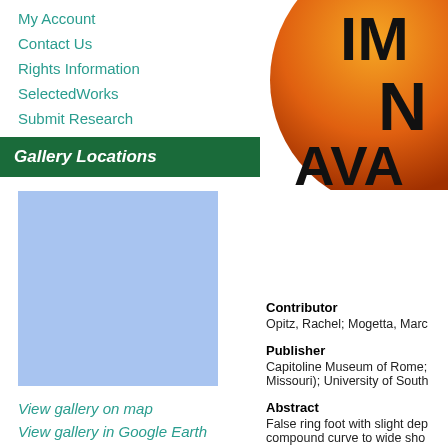My Account
Contact Us
Rights Information
SelectedWorks
Submit Research
Gallery Locations
[Figure (map): Blue rectangle map placeholder for gallery location]
View gallery on map
View gallery in Google Earth
[Figure (logo): Partially visible orange circular logo with text IMAGE NOT AVAILABLE]
Contributor
Opitz, Rachel; Mogetta, Marc
Publisher
Capitoline Museum of Rome; Missouri); University of South
Abstract
False ring foot with slight dep compound curve to wide sho